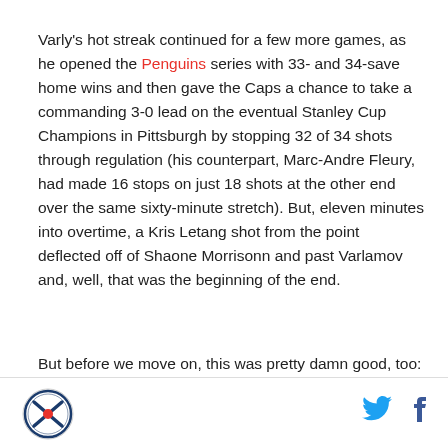Varly's hot streak continued for a few more games, as he opened the Penguins series with 33- and 34-save home wins and then gave the Caps a chance to take a commanding 3-0 lead on the eventual Stanley Cup Champions in Pittsburgh by stopping 32 of 34 shots through regulation (his counterpart, Marc-Andre Fleury, had made 16 stops on just 18 shots at the other end over the same sixty-minute stretch). But, eleven minutes into overtime, a Kris Letang shot from the point deflected off of Shaone Morrisonn and past Varlamov and, well, that was the beginning of the end.
But before we move on, this was pretty damn good, too:
[Figure (logo): Circular sports logo with crossed hockey sticks]